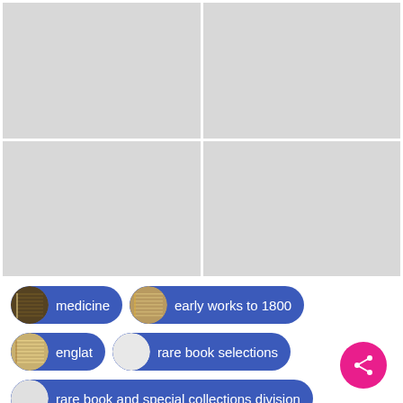[Figure (screenshot): 2x2 grid of placeholder/loading images shown as light gray rectangles]
medicine
early works to 1800
englat
rare book selections
rare book and special collections division